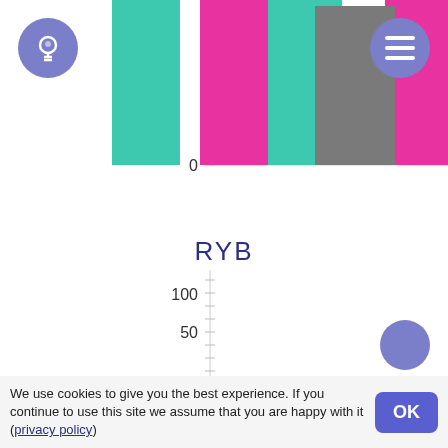[Figure (bar-chart): RYB]
RYB
We use cookies to give you the best experience. If you continue to use this site we assume that you are happy with it (privacy policy)